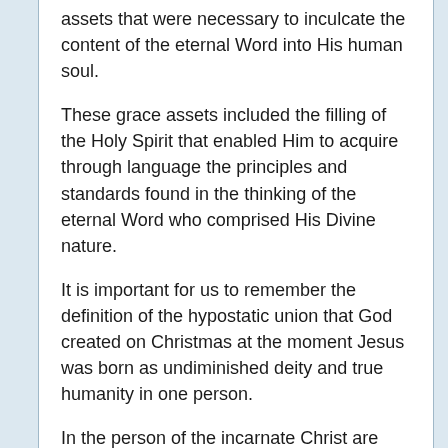assets that were necessary to inculcate the content of the eternal Word into His human soul.
These grace assets included the filling of the Holy Spirit that enabled Him to acquire through language the principles and standards found in the thinking of the eternal Word who comprised His Divine nature.
It is important for us to remember the definition of the hypostatic union that God created on Christmas at the moment Jesus was born as undiminished deity and true humanity in one person.
In the person of the incarnate Christ are two natures, divine and human, inseparably united without mixture or loss of separate identity, without loss or transfer of properties or attributes, the union being personal and eternal.
The protocol that God the Father provided for Jesus in